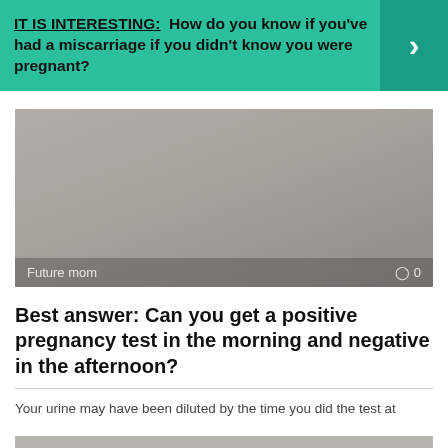IT IS INTERESTING: How do you know if you've had a miscarriage if you didn't know you were pregnant?
[Figure (photo): Blurred/greyed out image with 'Future mom' label and comment count 0]
Future mom   ○ 0
Best answer: Can you get a positive pregnancy test in the morning and negative in the afternoon?
Your urine may have been diluted by the time you did the test at